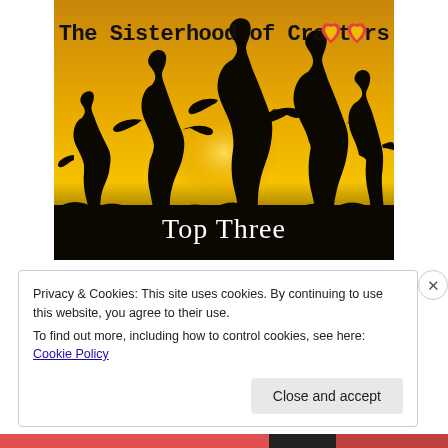[Figure (illustration): Banner image for 'The Sisterhood of Crafters' showing silhouettes of women holding hands against a golden sunset sky, with two red heart/donut shapes in the upper right and the text 'Top Three' at the bottom center in white serif font.]
Privacy & Cookies: This site uses cookies. By continuing to use this website, you agree to their use.
To find out more, including how to control cookies, see here: Cookie Policy
Close and accept